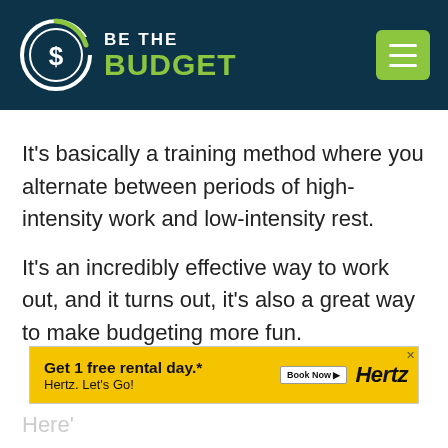[Figure (logo): Be The Budget website header with circular logo icon on dark teal background and green hamburger menu button]
It’s basically a training method where you alternate between periods of high-intensity work and low-intensity rest.
It’s an incredibly effective way to work out, and it turns out, it’s also a great way to make budgeting more fun.
[Figure (screenshot): Hertz advertisement banner: Get 1 free rental day.* Hertz. Let’s Go! Book Now]
Here’